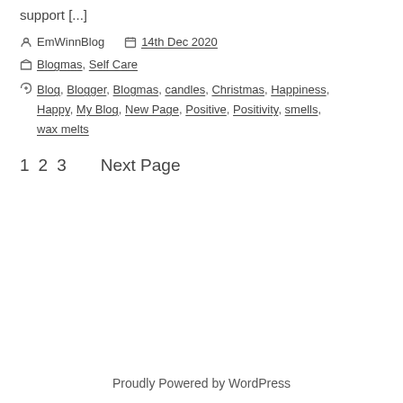support [...]
EmWinnBlog   14th Dec 2020
Blogmas, Self Care
Blog, Blogger, Blogmas, candles, Christmas, Happiness, Happy, My Blog, New Page, Positive, Positivity, smells, wax melts
1 2 3   Next Page
Proudly Powered by WordPress